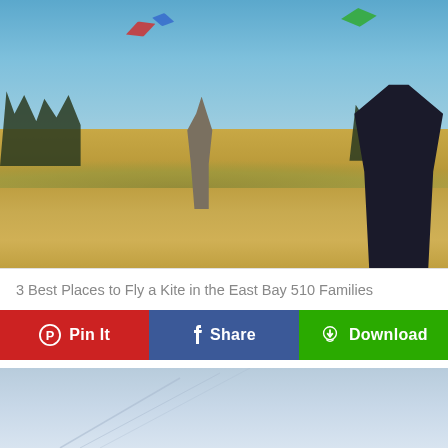[Figure (photo): Outdoor photo of people flying kites on a golden grassy hillside under a clear blue sky. A child in a hat stands in the middle of the field while an adult is visible on the right edge. Colorful kites are visible in the sky.]
3 Best Places to Fly a Kite in the East Bay 510 Families
[Figure (other): Three social sharing buttons in a row: 'Pin It' (red with Pinterest icon), 'Share' (blue with Facebook icon), 'Download' (green with cloud/arrow icon)]
[Figure (photo): Partial view of a second photo showing a light blue sky with diagonal kite string lines visible.]